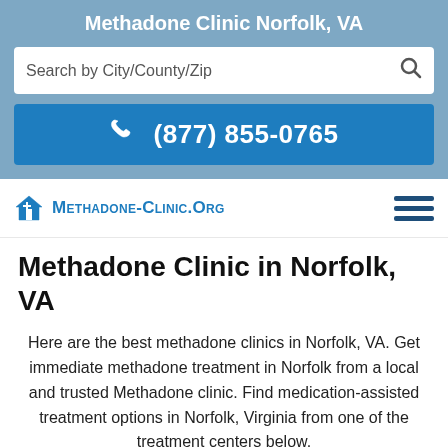Methadone Clinic Norfolk, VA
Search by City/County/Zip
(877) 855-0765
[Figure (logo): Methadone-Clinic.org logo with house-and-cross icon and hamburger menu]
Methadone Clinic in Norfolk, VA
Here are the best methadone clinics in Norfolk, VA. Get immediate methadone treatment in Norfolk from a local and trusted Methadone clinic. Find medication-assisted treatment options in Norfolk, Virginia from one of the treatment centers below.